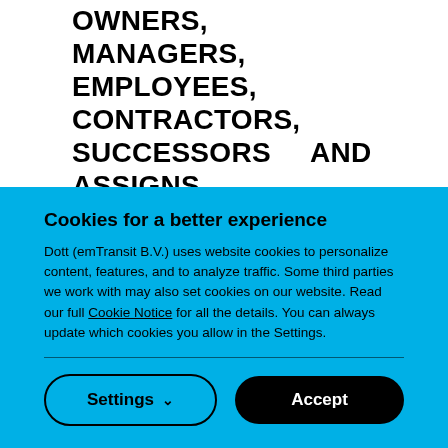OWNERS, MANAGERS, EMPLOYEES, CONTRACTORS, SUCCESSORS AND ASSIGNS, REPRESENTATIVES, AGENTS AND DIRECTORS.
7.   INDEMNIFICATION
YOU AGREE TO INDEMNIFY, DEFEND AND
Cookies for a better experience
Dott (emTransit B.V.) uses website cookies to personalize content, features, and to analyze traffic. Some third parties we work with may also set cookies on our website. Read our full Cookie Notice for all the details. You can always update which cookies you allow in the Settings.
Settings
Accept